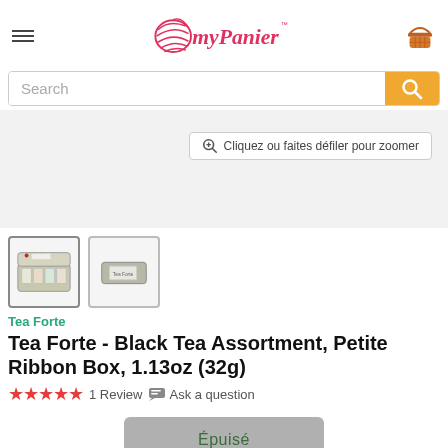[Figure (logo): myPanier logo with basket icon and hamburger menu]
[Figure (screenshot): Search bar with orange search button]
[Figure (photo): Product image area with zoom badge: Cliquez ou faites défiler pour zoomer]
[Figure (photo): Two product thumbnails: open tea box and closed box side view]
Tea Forte
Tea Forte - Black Tea Assortment, Petite Ribbon Box, 1.13oz (32g)
★★★★★ 1 Review  Ask a question
Épuisé